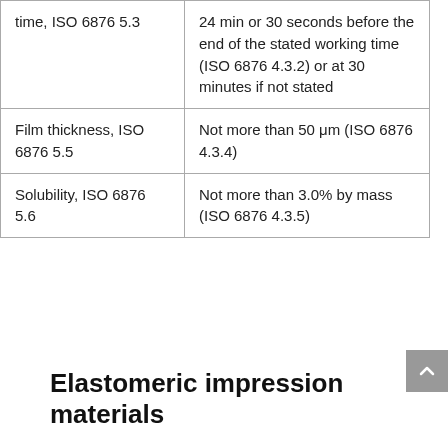| time, ISO 6876 5.3 | 24 min or 30 seconds before the end of the stated working time (ISO 6876 4.3.2) or at 30 minutes if not stated |
| Film thickness, ISO 6876 5.5 | Not more than 50 μm (ISO 6876 4.3.4) |
| Solubility, ISO 6876 5.6 | Not more than 3.0% by mass (ISO 6876 4.3.5) |
Elastomeric impression materials